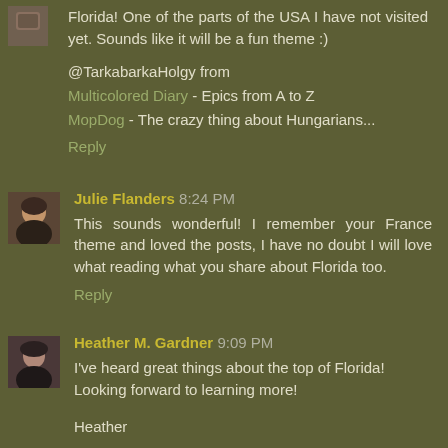Florida! One of the parts of the USA I have not visited yet. Sounds like it will be a fun theme :)
@TarkabarkaHolgy from Multicolored Diary - Epics from A to Z MopDog - The crazy thing about Hungarians...
Reply
Julie Flanders 8:24 PM
This sounds wonderful! I remember your France theme and loved the posts, I have no doubt I will love what reading what you share about Florida too.
Reply
Heather M. Gardner 9:09 PM
I've heard great things about the top of Florida! Looking forward to learning more!
Heather